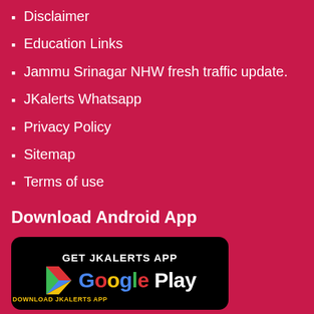Disclaimer
Education Links
Jammu Srinagar NHW fresh traffic update.
JKalerts Whatsapp
Privacy Policy
Sitemap
Terms of use
Download Android App
[Figure (screenshot): Google Play Store badge with text GET JKALERTS APP and DOWNLOAD JKALERTS APP]